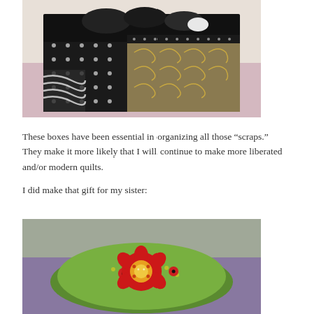[Figure (photo): A fabric storage box made from black-and-white patterned quilting fabrics (polka dots, swirls, stripes), filled with rolled black fabric and a white roll. The box sits on a pink/purple surface.]
These boxes have been essential in organizing all those “scraps.” They make it more likely that I will continue to make more liberated and/or modern quilts.
I did make that gift for my sister:
[Figure (photo): A colorful pincushion made from green fabric with ladybug and flower prints, topped with a red flower applique with yellow center. It sits on a purple surface.]